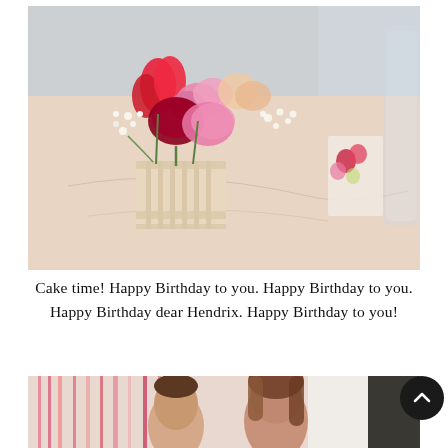[Figure (photo): Close-up photo of a flower arrangement in a cardboard berry basket on a table. Pink and red flowers including tulips, carnations, and baby's breath. A floral-printed card and glass pitcher are visible in the background.]
Cake time! Happy Birthday to you. Happy Birthday to you. Happy Birthday dear Hendrix. Happy Birthday to you!
[Figure (photo): Photo of two people (a man and a woman) standing in front of pink and red tassel decorations.]